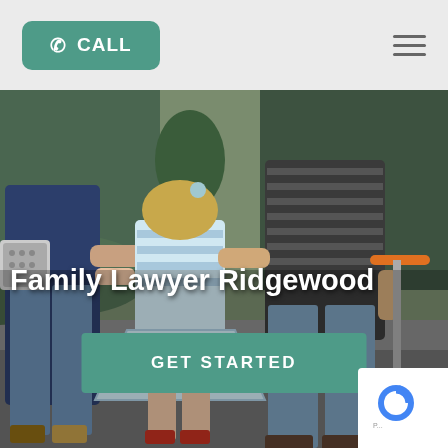[Figure (screenshot): Website header with teal CALL button and hamburger menu on light gray background]
[Figure (photo): Family walking together from behind — two adults holding hands with a young girl in a striped dress; man on right holds an orange scooter; park/street setting with trees]
Family Lawyer Ridgewood
GET STARTED